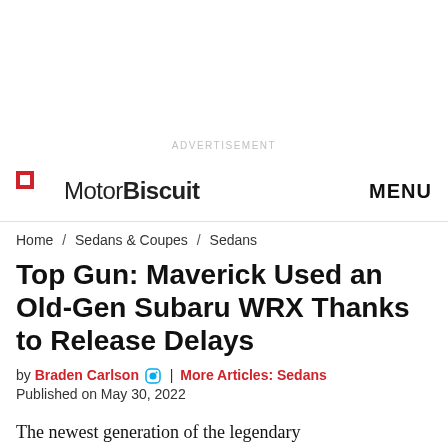ADVERTISEMENT
MotorBiscuit  MENU
Home / Sedans & Coupes / Sedans
Top Gun: Maverick Used an Old-Gen Subaru WRX Thanks to Release Delays
by Braden Carlson | More Articles: Sedans
Published on May 30, 2022
The newest generation of the legendary